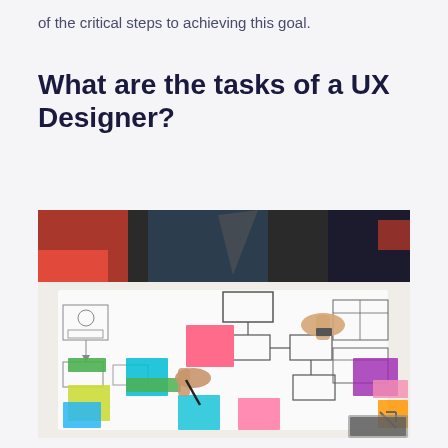of the critical steps to achieving this goal.
What are the tasks of a UX Designer?
[Figure (photo): Overhead view of several people collaborating around a table covered with UX wireframe sketches, colorful sticky notes (pink, blue, yellow, green, purple), and printed flowcharts. People are pointing and writing on the papers with markers.]